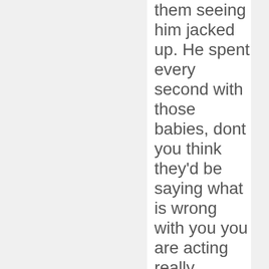them seeing him jacked up. He spent every second with those babies, dont you think they'd be saying what is wrong with you you are acting really strange. No, he would never want that so avoid it at all costs. I believe in that for sure. You need to listen to morphine, he is talking about the media oh God he's doing